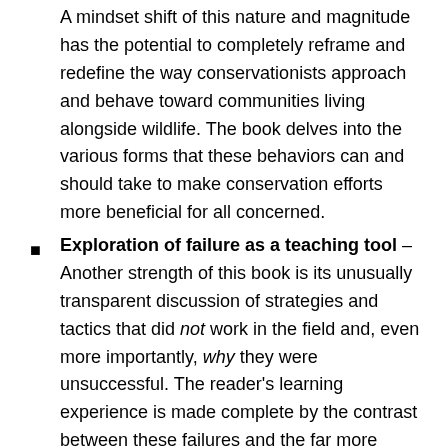A mindset shift of this nature and magnitude has the potential to completely reframe and redefine the way conservationists approach and behave toward communities living alongside wildlife. The book delves into the various forms that these behaviors can and should take to make conservation efforts more beneficial for all concerned.
Exploration of failure as a teaching tool – Another strength of this book is its unusually transparent discussion of strategies and tactics that did not work in the field and, even more importantly, why they were unsuccessful. The reader's learning experience is made complete by the contrast between these failures and the far more successful experience-based practices the book recommends. It takes a great deal of courage and strength for an individual and/or